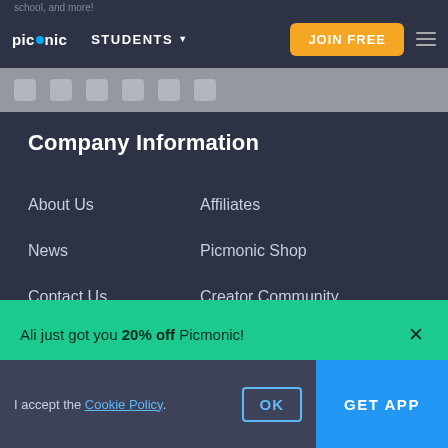picmonic  STUDENTS  JOIN FREE
Company Information
About Us
Affiliates
News
Picmonic Shop
Contact Us
Creator Community
FAQs
Ali just got you 20% off Picmonic!
Get Picmonic and start your journey
I accept the Cookie Policy.
OK
GET APP